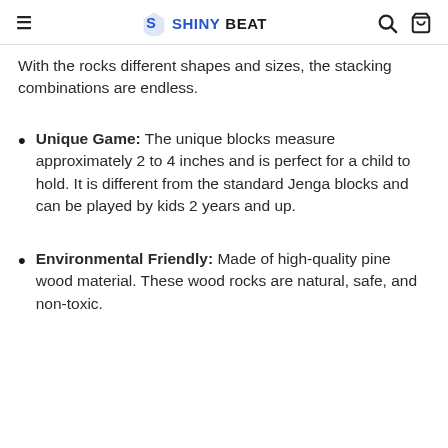≡  SHINY BEAT  🔍 🛒
With the rocks different shapes and sizes, the stacking combinations are endless.
Unique Game: The unique blocks measure approximately 2 to 4 inches and is perfect for a child to hold. It is different from the standard Jenga blocks and can be played by kids 2 years and up.
Environmental Friendly: Made of high-quality pine wood material. These wood rocks are natural, safe, and non-toxic.